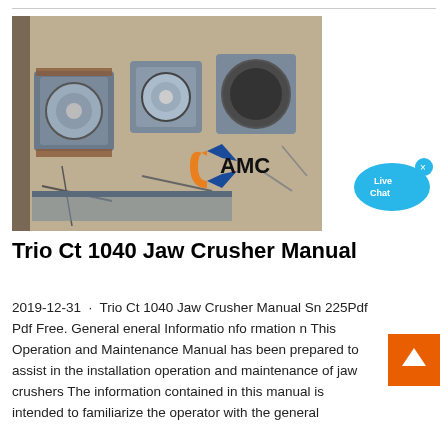[Figure (photo): Aerial/top-down view of three jaw crushers on a construction/mining site with AMC logo overlay]
[Figure (other): Live Chat button widget — blue speech bubble with 'Live Chat' text and an x close button]
Trio Ct 1040 Jaw Crusher Manual
2019-12-31 · Trio Ct 1040 Jaw Crusher Manual Sn 225Pdf Pdf Free. General eneral Informatio nfo rmation n This Operation and Maintenance Manual has been prepared to assist in the installation operation and maintenance of jaw crushers The information contained in this manual is intended to familiarize the operator with the general